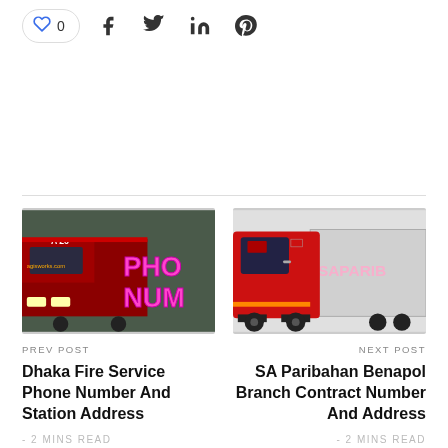Social sharing bar with like (0), Facebook, Twitter, LinkedIn, Pinterest icons
[Figure (photo): Photo of a red fire truck/ambulance with pink graffiti text reading PHO / NUM in background]
PREV POST
Dhaka Fire Service Phone Number And Station Address
- 2 MINS READ
[Figure (photo): Photo of a red semi truck cab with white trailer showing SA PARIB text]
NEXT POST
SA Paribahan Benapol Branch Contract Number And Address
- 2 MINS READ